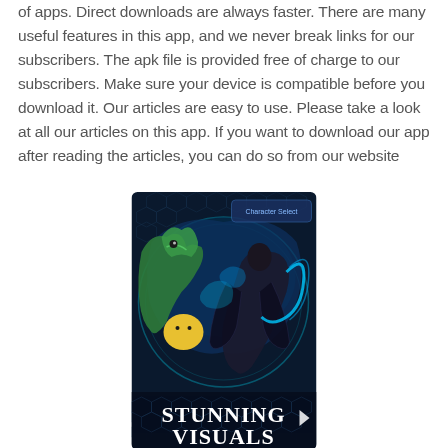of apps. Direct downloads are always faster. There are many useful features in this app, and we never break links for our subscribers. The apk file is provided free of charge to our subscribers. Make sure your device is compatible before you download it. Our articles are easy to use. Please take a look at all our articles on this app. If you want to download our app after reading the articles, you can do so from our website
[Figure (illustration): Game artwork showing animated characters in a futuristic arena with glowing blue energy effects, a large creature on the left and a dark-caped character on the right. Text at the bottom reads 'STUNNING VISUALS' in large bold letters on a dark hexagonal patterned background.]